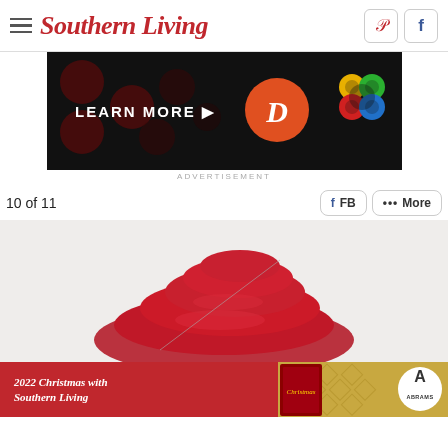Southern Living
[Figure (screenshot): Advertisement banner with dark background showing 'LEARN MORE' text, a red circle with letter D, and a colorful flower/knot graphic]
ADVERTISEMENT
10 of 11
[Figure (photo): Photo of a folded red cloth or fabric item on a light background]
[Figure (screenshot): Advertisement banner for '2022 Christmas with Southern Living' book published by Abrams, with red and gold background]